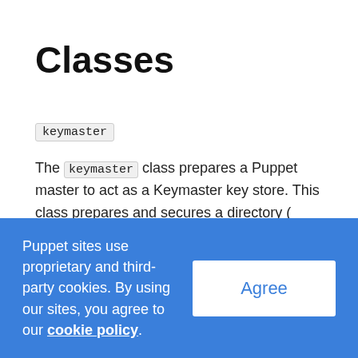Classes
keymaster
The keymaster class prepares a Puppet master to act as a Keymaster key store. This class prepares and secures a directory ( /var/lib/keymaster ) to store the files used by the other resources defined in this module. The
Puppet sites use proprietary and third-party cookies. By using our sites, you agree to our cookie policy.